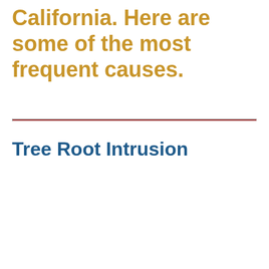California. Here are some of the most frequent causes.
Tree Root Intrusion